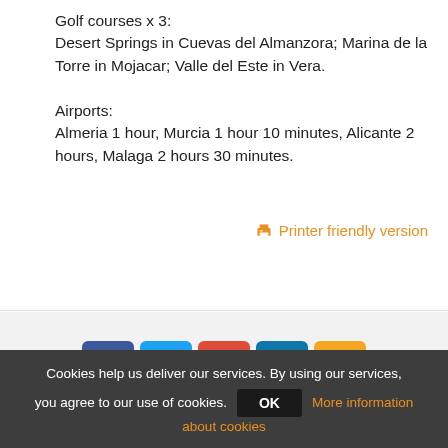Golf courses x 3:
Desert Springs in Cuevas del Almanzora; Marina de la Torre in Mojacar; Valle del Este in Vera.

Airports:
Almeria 1 hour, Murcia 1 hour 10 minutes, Alicante 2 hours, Malaga 2 hours 30 minutes.
🖨 Printer friendly version
[Figure (infographic): Social sharing icons: Facebook (blue), Twitter (light blue), Google+ (red), LinkedIn (teal/blue), Email (orange)]
Cookies help us deliver our services. By using our services, you agree to our use of cookies. OK More information about cookies